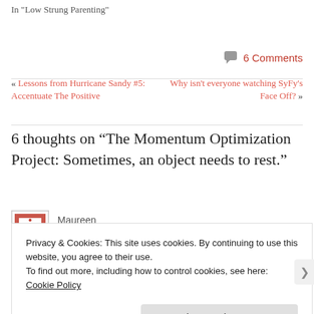In "Low Strung Parenting"
💬 6 Comments
« Lessons from Hurricane Sandy #5: Accentuate The Positive
Why isn't everyone watching SyFy's Face Off? »
6 thoughts on “The Momentum Optimization Project: Sometimes, an object needs to rest.”
Maureen
Privacy & Cookies: This site uses cookies. By continuing to use this website, you agree to their use.
To find out more, including how to control cookies, see here: Cookie Policy